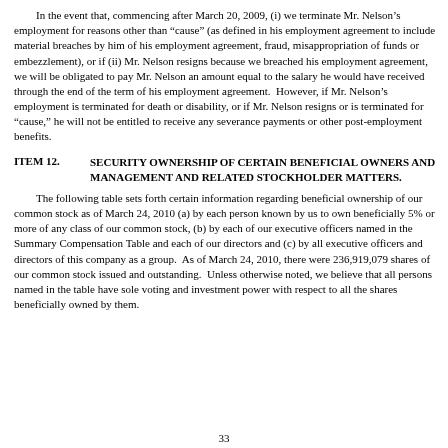In the event that, commencing after March 20, 2009, (i) we terminate Mr. Nelson’s employment for reasons other than “cause” (as defined in his employment agreement to include material breaches by him of his employment agreement, fraud, misappropriation of funds or embezzlement), or if (ii) Mr. Nelson resigns because we breached his employment agreement, we will be obligated to pay Mr. Nelson an amount equal to the salary he would have received through the end of the term of his employment agreement. However, if Mr. Nelson’s employment is terminated for death or disability, or if Mr. Nelson resigns or is terminated for “cause,” he will not be entitled to receive any severance payments or other post-employment benefits.
ITEM 12. SECURITY OWNERSHIP OF CERTAIN BENEFICIAL OWNERS AND MANAGEMENT AND RELATED STOCKHOLDER MATTERS.
The following table sets forth certain information regarding beneficial ownership of our common stock as of March 24, 2010 (a) by each person known by us to own beneficially 5% or more of any class of our common stock, (b) by each of our executive officers named in the Summary Compensation Table and each of our directors and (c) by all executive officers and directors of this company as a group. As of March 24, 2010, there were 236,919,079 shares of our common stock issued and outstanding. Unless otherwise noted, we believe that all persons named in the table have sole voting and investment power with respect to all the shares beneficially owned by them.
33